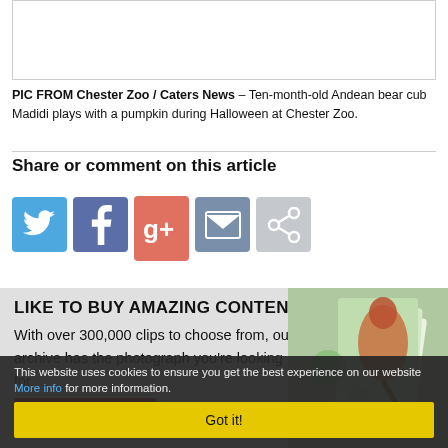[Figure (photo): White/blank image box at top of page]
PIC FROM Chester Zoo / Caters News – Ten-month-old Andean bear cub Madidi plays with a pumpkin during Halloween at Chester Zoo.
Share or comment on this article
[Figure (infographic): Social sharing icons: Twitter (blue), Facebook (blue-grey), Google+ (coral/red), Email (grey-blue), Share (light grey)]
LIKE TO BUY AMAZING CONTENT? With over 300,000 clips to choose from, our archive has the photograph you're looking for.
[Figure (photo): Promotional photo thumbnail showing a lizard or reptile]
CLICK HERE
This website uses cookies to ensure you get the best experience on our website More info for more information.
Got it!